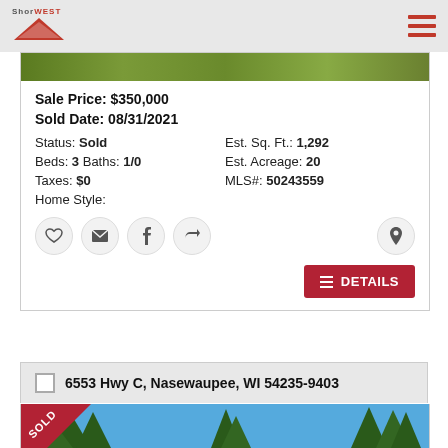Shorewest
Sale Price: $350,000
Sold Date: 08/31/2021
Status: Sold
Est. Sq. Ft.: 1,292
Beds: 3 Baths: 1/0
Est. Acreage: 20
Taxes: $0
MLS#: 50243559
Home Style:
6553 Hwy C, Nasewaupee, WI 54235-9403
[Figure (photo): Exterior photo of property with grass and sky; SOLD banner in corner]